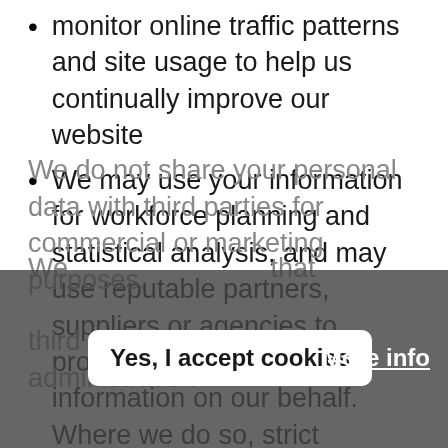monitor online traffic patterns and site usage to help us continually improve our website
We may use your information for workforce planning and statistical analysis, and may use reputable partners, suppliers or agencies to process your personal information on our behalf. Where we do so, strict instructions will be given on the processing of data and security
We do not share your personal data with third parties for commercial or marketing purposes.
We ... that ... third party suppliers for administration ...